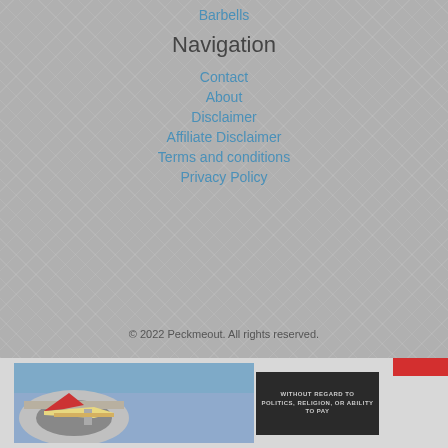Barbells
Navigation
Contact
About
Disclaimer
Affiliate Disclaimer
Terms and conditions
Privacy Policy
© 2022 Peckmeout. All rights reserved.
[Figure (photo): Advertisement banner with airplane cargo image on the left and dark text box reading WITHOUT REGARD TO on the right, plus a small red button in the top-right corner]